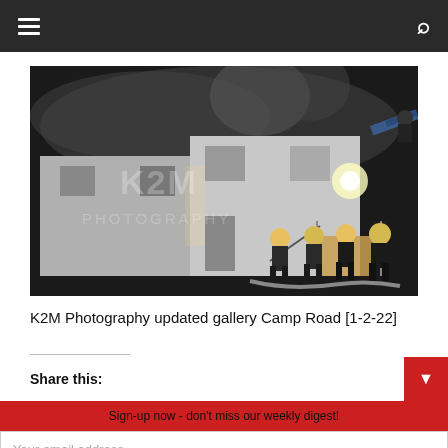Navigation bar with hamburger menu and search icon
[Figure (photo): Nighttime fire scene showing firefighters at a two-story white house with fire damage, smoke, and a ladder truck. Watermark reads K2M PHOTOGRAPHY.]
K2M Photography updated gallery Camp Road [1-2-22]
Share this:
Sign-up now - don't miss our weekly digest!
Your email address..
Subscribe